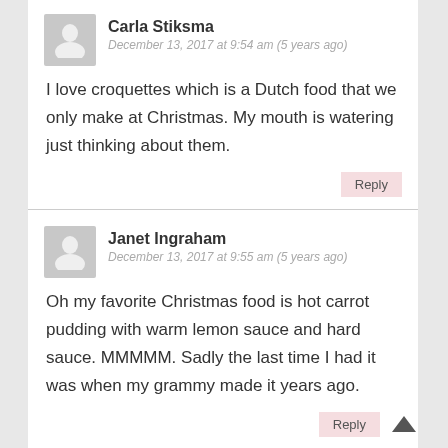Carla Stiksma
December 13, 2017 at 9:54 am (5 years ago)
I love croquettes which is a Dutch food that we only make at Christmas. My mouth is watering just thinking about them.
Reply
Janet Ingraham
December 13, 2017 at 9:55 am (5 years ago)
Oh my favorite Christmas food is hot carrot pudding with warm lemon sauce and hard sauce. MMMMM. Sadly the last time I had it was when my grammy made it years ago.
Reply